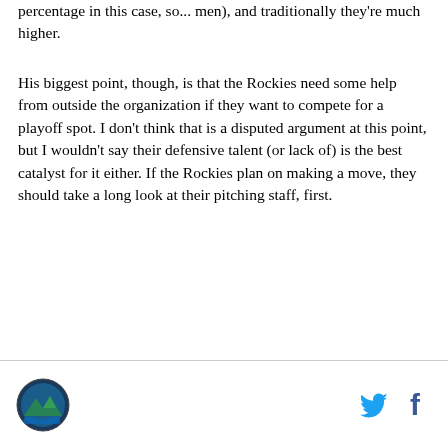percentage in this case, so... men), and traditionally they're much higher.
His biggest point, though, is that the Rockies need some help from outside the organization if they want to compete for a playoff spot. I don't think that is a disputed argument at this point, but I wouldn't say their defensive talent (or lack of) is the best catalyst for it either. If the Rockies plan on making a move, they should take a long look at their pitching staff, first.
Site logo and social share icons (Twitter, Facebook)